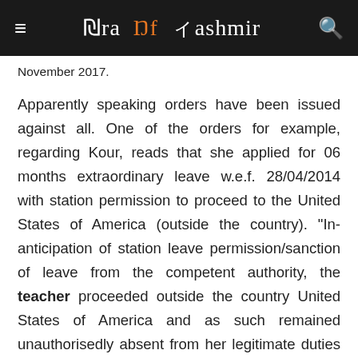Era Of Kashmir
November 2017.
Apparently speaking orders have been issued against all. One of the orders for example, regarding Kour, reads that she applied for 06 months extraordinary leave w.e.f. 28/04/2014 with station permission to proceed to the United States of America (outside the country). "In-anticipation of station leave permission/sanction of leave from the competent authority, the teacher proceeded outside the country United States of America and as such remained unauthorisedly absent from her legitimate duties w.e.f. 28/04/2014," reads the order, a copy of which lies GNS.